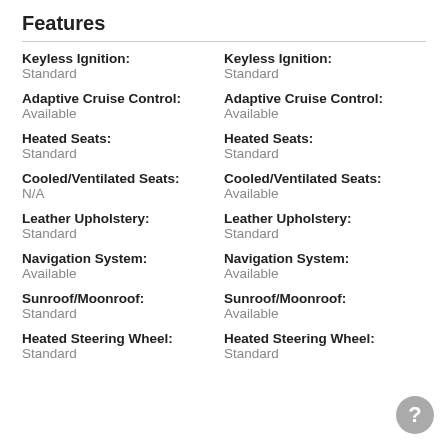Features
Keyless Ignition: Standard | Keyless Ignition: Standard
Adaptive Cruise Control: Available | Adaptive Cruise Control: Available
Heated Seats: Standard | Heated Seats: Standard
Cooled/Ventilated Seats: N/A | Cooled/Ventilated Seats: Available
Leather Upholstery: Standard | Leather Upholstery: Standard
Navigation System: Available | Navigation System: Available
Sunroof/Moonroof: Standard | Sunroof/Moonroof: Available
Heated Steering Wheel: Standard | Heated Steering Wheel: Standard